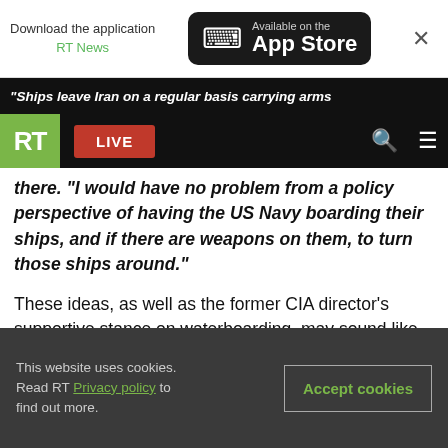[Figure (screenshot): RT News app store download banner with App Store button and close button]
"Ships leave Iran on a regular basis carrying arms
[Figure (screenshot): RT logo with green background, LIVE red button, search and menu icons on black navigation bar]
there. “I would have no problem from a policy perspective of having the US Navy boarding their ships, and if there are weapons on them, to turn those ships around.”
These ideas, as well as the former CIA director’s supportive stance on waterboarding, may sound like something out of the Republican camp, but Morell is indeed with Clinton, and in the event of Clinton winning the election, he is poised to become a driving force in American foreign policy.
This website uses cookies. Read RT Privacy policy to find out more.